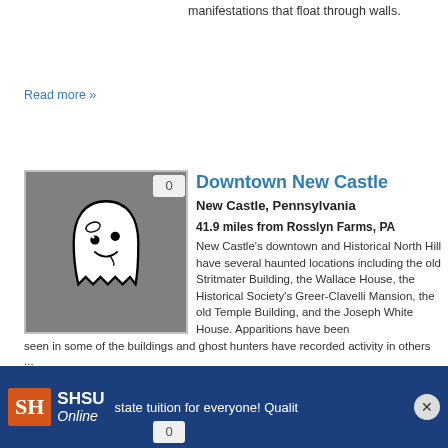manifestations that float through walls.
Read more »
[Figure (illustration): Ghost illustration on grey background with badge showing 0]
Downtown New Castle
New Castle, Pennsylvania
41.9 miles from Rosslyn Farms, PA
New Castle's downtown and Historical North Hill have several haunted locations including the old Stritmater Building, the Wallace House, the Historical Society's Greer-Clavelli Mansion, the old Temple Building, and the Joseph White House. Apparitions have been seen in some of the buildings and ghost hunters have recorded activity in others ...
Read more »
[Figure (illustration): Ghost illustration on grey background with badge showing 0, partially visible]
133 Kiester Road
[Figure (screenshot): SHSU Online advertisement banner — in-state tuition for everyone! Quality...]